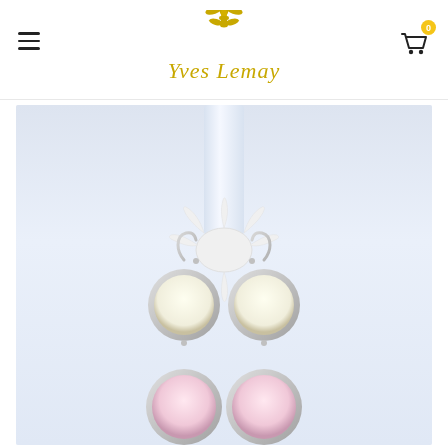Yves Lemay jewelry website header with logo, hamburger menu, and cart
[Figure (photo): Product photo of two pairs of silver earrings with circular disc pendants: top pair has cream/white enamel discs and bottom pair has light pink enamel discs, displayed on a white starfish display holder against a pale blue-white background.]